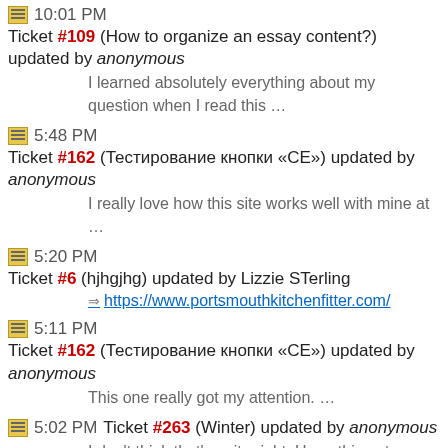10:01 PM Ticket #109 (How to organize an essay content?) updated by anonymous
I learned absolutely everything about my question when I read this …
5:48 PM Ticket #162 (Тестирование кнопки «CE») updated by anonymous
I really love how this site works well with mine at …
5:20 PM Ticket #6 (hjhgjhg) updated by Lizzie STerling
https://www.portsmouthkitchenfitter.com/
5:11 PM Ticket #162 (Тестирование кнопки «CE») updated by anonymous
This one really got my attention. …
5:02 PM Ticket #263 (Winter) updated by anonymous
I don't think that's quite right. Hope this gets resolved quickly. …
4:46 PM Ticket #176 (How many five-letter words are there?) updated by anonymous
Excellent work on this. Really helpful word finder. …
4:37 PM Ticket #275 (test ticket by David D) created by